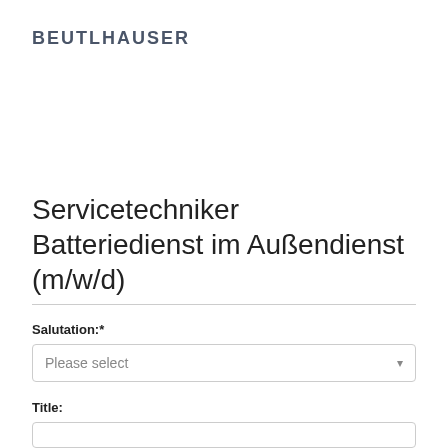[Figure (logo): BEUTLHAUSER company logo in dark gray bold uppercase text]
Servicetechniker Batteriedienst im Außendienst (m/w/d)
Salutation:*
Please select
Title: